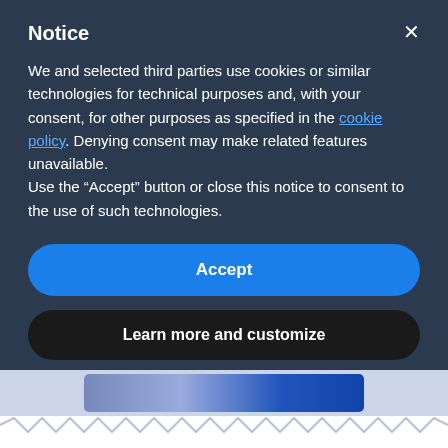Notice
We and selected third parties use cookies or similar technologies for technical purposes and, with your consent, for other purposes as specified in the cookie policy. Denying consent may make related features unavailable.
Use the “Accept” button or close this notice to consent to the use of such technologies.
Accept
Learn more and customize
[Figure (photo): Partial view of a photo strip showing a person, partially obscured]
Hugo Caffaratti
PhD Cognitive Neuroscience